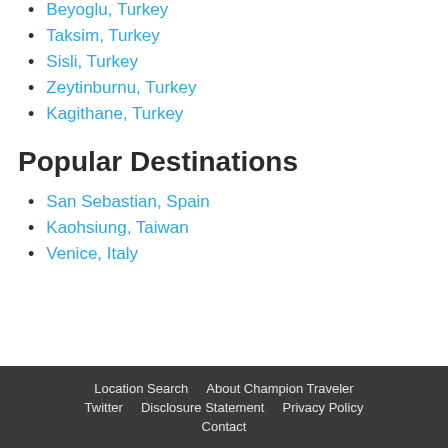Beyoglu, Turkey
Taksim, Turkey
Sisli, Turkey
Zeytinburnu, Turkey
Kagithane, Turkey
Popular Destinations
San Sebastian, Spain
Kaohsiung, Taiwan
Venice, Italy
Location Search  About Champion Traveler  Twitter  Disclosure Statement  Privacy Policy  Contact